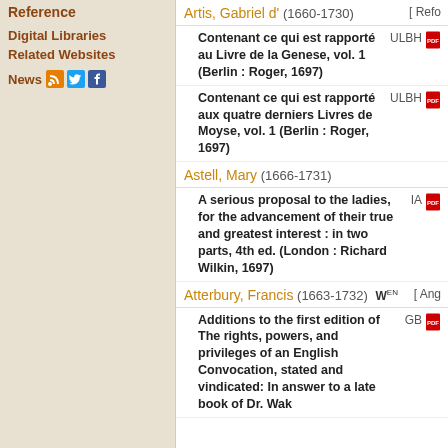Reference
Digital Libraries
Related Websites
News
Artis, Gabriel d' (1660-1730) [ Refo
Contenant ce qui est rapporté au Livre de la Genese, vol. 1 (Berlin : Roger, 1697) ULBH
Contenant ce qui est rapporté aux quatre derniers Livres de Moyse, vol. 1 (Berlin : Roger, 1697) ULBH
Astell, Mary (1666-1731)
A serious proposal to the ladies, for the advancement of their true and greatest interest : in two parts, 4th ed. (London : Richard Wilkin, 1697) IA
Atterbury, Francis (1663-1732) W EN [ Ang
Additions to the first edition of The rights, powers, and privileges of an English Convocation, stated and vindicated: In answer to a late book of Dr. Wak... GB